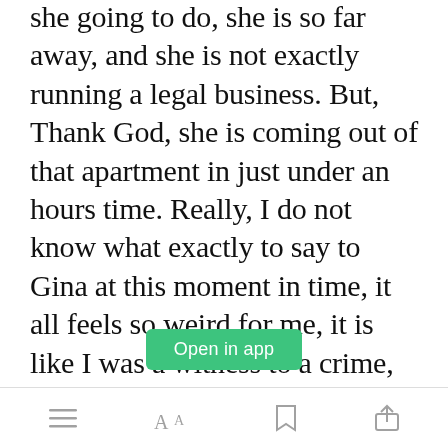she going to do, she is so far away, and she is not exactly running a legal business. But, Thank God, she is coming out of that apartment in just under an hours time. Really, I do not know what exactly to say to Gina at this moment in time, it all feels so weird for me, it is like I was a witness to a crime, but I did nothing to stop it!
[Figure (screenshot): Green 'Open in app' button overlay at bottom of text]
Navigation bar with list icon, font size icon, bookmark icon, and share icon